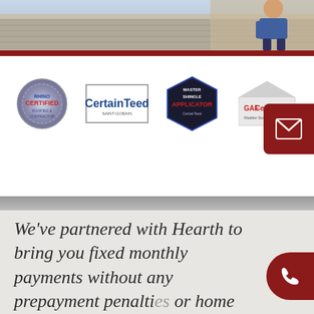[Figure (photo): Top banner photo showing roofing work being done, worker visible on roof]
[Figure (logo): Four certification logos: Rhino Certified, CertainTeed, Master Shingle Applicator CertainTeed, GAF Certified Weather Stopper Roofing Contractor]
We've partnered with Hearth to bring you fixed monthly payments without any prepayment penalties or home equity requirements. You can receive the funds for your